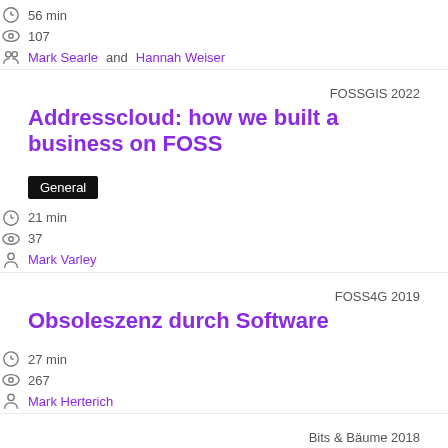56 min
107
Mark Searle and Hannah Weiser
FOSSGIS 2022
Addresscloud: how we built a business on FOSS
General
21 min
37
Mark Varley
FOSS4G 2019
Obsoleszenz durch Software
27 min
267
Mark Herterich
Bits & Bäume 2018
MRuby-Zest: a Scriptable Audio GUI